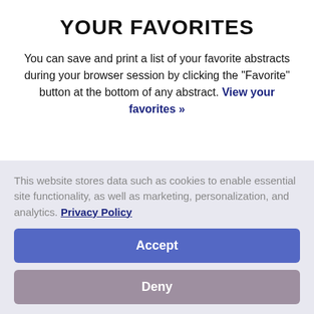YOUR FAVORITES
You can save and print a list of your favorite abstracts during your browser session by clicking the "Favorite" button at the bottom of any abstract. View your favorites »
[Figure (logo): ACR logo with pink hand/wave graphic partially visible]
This website stores data such as cookies to enable essential site functionality, as well as marketing, personalization, and analytics. Privacy Policy
Accept
Deny